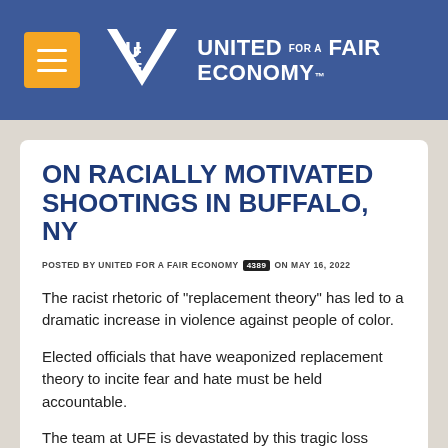[Figure (logo): United for a Fair Economy logo with orange menu button on blue header background]
ON RACIALLY MOTIVATED SHOOTINGS IN BUFFALO, NY
POSTED BY UNITED FOR A FAIR ECONOMY 4389 ON MAY 16, 2022
The racist rhetoric of "replacement theory" has led to a dramatic increase in violence against people of color.
Elected officials that have weaponized replacement theory to incite fear and hate must be held accountable.
The team at UFE is devastated by this tragic loss